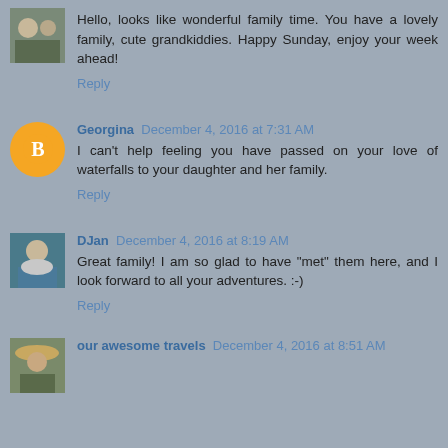[Figure (photo): Small square thumbnail photo of two people outdoors]
Hello, looks like wonderful family time. You have a lovely family, cute grandkiddies. Happy Sunday, enjoy your week ahead!
Reply
[Figure (logo): Orange circle with white Blogger 'B' icon]
Georgina December 4, 2016 at 7:31 AM
I can't help feeling you have passed on your love of waterfalls to your daughter and her family.
Reply
[Figure (photo): Small square thumbnail photo of a person with short grey hair wearing blue]
DJan December 4, 2016 at 8:19 AM
Great family! I am so glad to have "met" them here, and I look forward to all your adventures. :-)
Reply
[Figure (photo): Small square thumbnail photo of a person wearing a hat]
our awesome travels December 4, 2016 at 8:51 AM